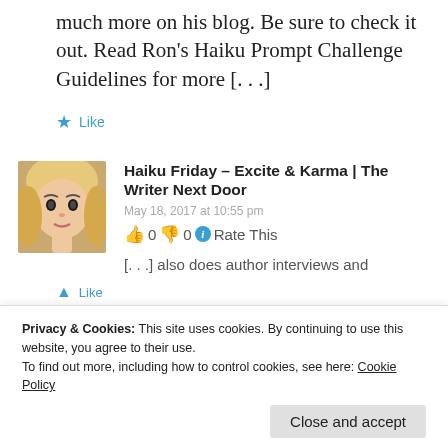much more on his blog. Be sure to check it out. Read Ron's Haiku Prompt Challenge Guidelines for more [...]
★ Like
Haiku Friday – Excite & Karma | The Writer Next Door
May 18, 2017 at 10:55 pm
👍 0 👎 0 ℹ Rate This
[...] also does author interviews and
Privacy & Cookies: This site uses cookies. By continuing to use this website, you agree to their use. To find out more, including how to control cookies, see here: Cookie Policy
Close and accept
▲ Like